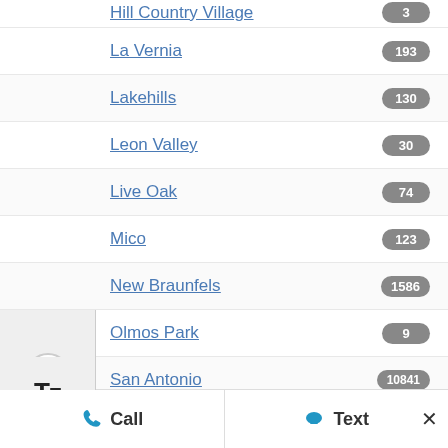Hill Country Village — 3
La Vernia — 193
Lakehills — 130
Leon Valley — 30
Live Oak — 74
Mico — 123
New Braunfels — 1586
Olmos Park — 9
San Antonio — 10841
Schertz — 326
Seguin — 680
Selma — 67
Shavano Park — 14
Spring Branch — 430
Terrell Hills — 35
Universal City — 75
Call  Text  ×